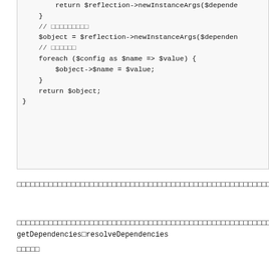[Figure (screenshot): Code block showing PHP code with return statement, object creation, foreach loop, and return $object]
□□□□□□□□□□□□□□□□□□□□□□□□□□□□□□□□□□□□□□□□□□□□□□□□□□□□□□□□□□□□□□□□□□□□□□□□□□□□□□□□□□□□□□□□□□□□□□□□□□□□□□□□□□□□□□□□□□□□□□□□□□□□□□□□□□□□□□□□□□□□□□□□□□□□□□□□□□□□□□□□
□□□□□□□□□□□□□□□□□□□□□□□□□□□□□□□□□□□□□□□□□□□□□□□□□□□□□□□□□□□□□□□□□□□□□□□□□□□□□□□□□□□□□□□□□getDependencies□resolveDependencies
□□□□□